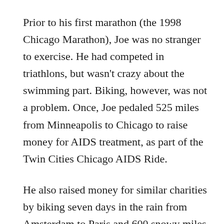Prior to his first marathon (the 1998 Chicago Marathon), Joe was no stranger to exercise. He had competed in triathlons, but wasn't crazy about the swimming part. Biking, however, was not a problem. Once, Joe pedaled 525 miles from Minneapolis to Chicago to raise money for AIDS treatment, as part of the Twin Cities Chicago AIDS Ride.
He also raised money for similar charities by biking seven days in the rain from Amsterdam to Paris and 600 snowy miles from Fairbanks to Anchorage.
Over the years, Joe has raised thousands for causes like breast cancer awareness, brain tumor research, and homelessness prevention. Thanks to support from a